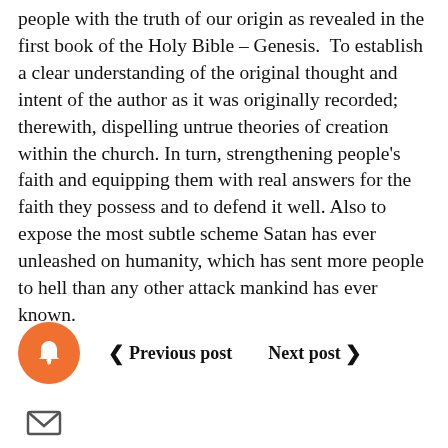people with the truth of our origin as revealed in the first book of the Holy Bible – Genesis.  To establish a clear understanding of the original thought and intent of the author as it was originally recorded; therewith, dispelling untrue theories of creation within the church. In turn, strengthening people's faith and equipping them with real answers for the faith they possess and to defend it well. Also to expose the most subtle scheme Satan has ever unleashed on humanity, which has sent more people to hell than any other attack mankind has ever known.
‹ Previous post    Next post ›